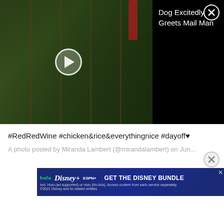[Figure (screenshot): Video player showing a dog and mailman scene with play button overlay. Title reads 'Dog Excitedly Greets Mail Man' on black background. Close (X) button in top right.]
#RedRedWine #chicken&rice&everythingnice #dayoff♥
A photo posted by Miranda Lambert (@mirandalambert) on Jun...
[Figure (screenshot): Disney Bundle advertisement: hulu, Disney+, ESPN+. GET THE DISNEY BUNDLE. Incl. Hulu (ad-supported) or Hulu (No Ads). Access content from each service separately. ©2021 Disney and its related entities.]
[Figure (screenshot): Seamless food delivery advertisement showing pizza image on left, seamless logo in red center, and ORDER NOW button on right.]